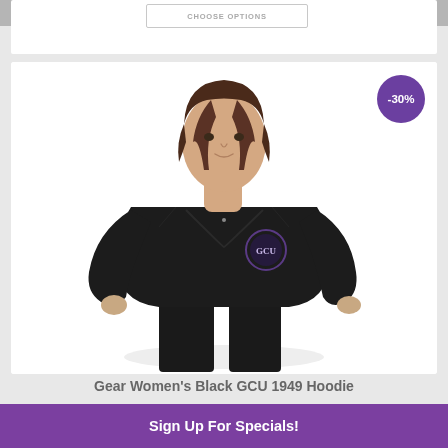[Figure (screenshot): Top portion of a product listing card showing a 'CHOOSE OPTIONS' button on white background with gray top bar]
[Figure (photo): Woman wearing a black GCU 1949 hoodie with a purple GCU circular logo on the chest, posing with hand on hip against white background. A purple circle badge shows -30% discount in upper right.]
Gear Women's Black GCU 1949 Hoodie
Sign Up For Specials!